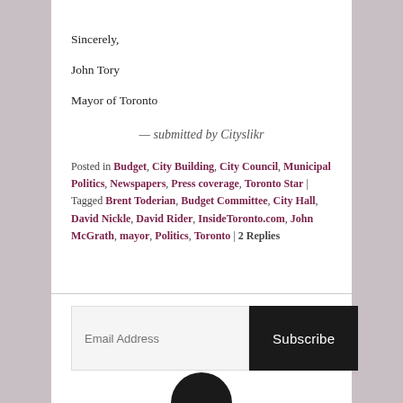Sincerely,
John Tory
Mayor of Toronto
— submitted by Cityslikr
Posted in Budget, City Building, City Council, Municipal Politics, Newspapers, Press coverage, Toronto Star | Tagged Brent Toderian, Budget Committee, City Hall, David Nickle, David Rider, InsideToronto.com, John McGrath, mayor, Politics, Toronto | 2 Replies